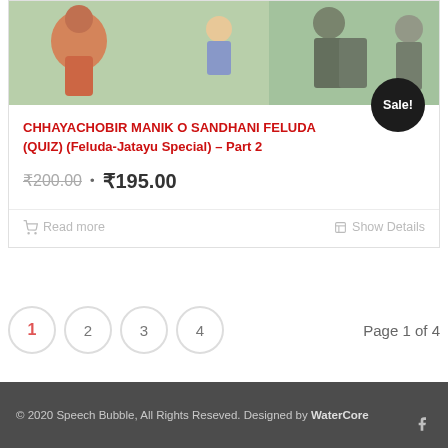[Figure (illustration): Book cover illustration showing cartoon characters in red, green, and grey tones]
CHHAYACHOBIR MANIK O SANDHANI FELUDA (QUIZ) (Feluda-Jatayu Special) – Part 2
₹200.00 • ₹195.00
Sale!
Read more  Show Details
1  2  3  4   Page 1 of 4
© 2020 Speech Bubble, All Rights Reseved. Designed by WaterCore